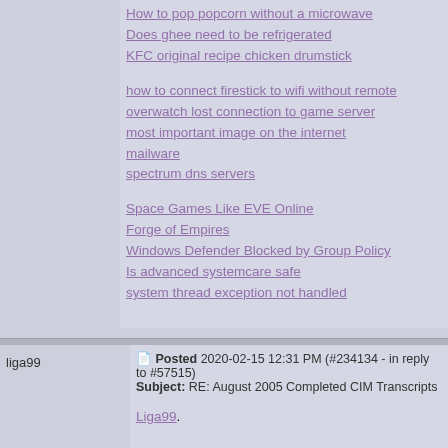How to pop popcorn without a microwave
Does ghee need to be refrigerated
KFC original recipe chicken drumstick
how to connect firestick to wifi without remote
overwatch lost connection to game server
most important image on the internet
mailware
spectrum dns servers
Space Games Like EVE Online
Forge of Empires
Windows Defender Blocked by Group Policy
Is advanced systemcare safe
system thread exception not handled
liga99
Posted 2020-02-15 12:31 PM (#234134 - in reply to #57515)
Subject: RE: August 2005 Completed CIM Transcripts
Liga99.